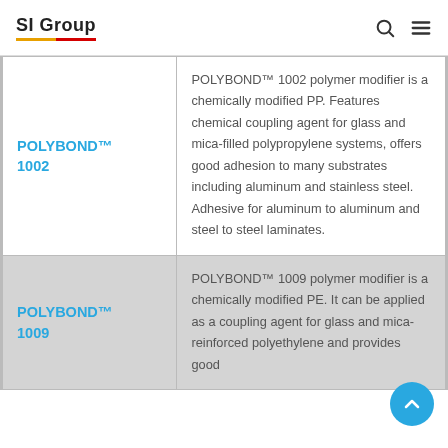SI Group
| Product | Description |
| --- | --- |
| POLYBOND™ 1002 | POLYBOND™ 1002 polymer modifier is a chemically modified PP. Features chemical coupling agent for glass and mica-filled polypropylene systems, offers good adhesion to many substrates including aluminum and stainless steel. Adhesive for aluminum to aluminum and steel to steel laminates. |
| POLYBOND™ 1009 | POLYBOND™ 1009 polymer modifier is a chemically modified PE. It can be applied as a coupling agent for glass and mica-reinforced polyethylene and provides good |